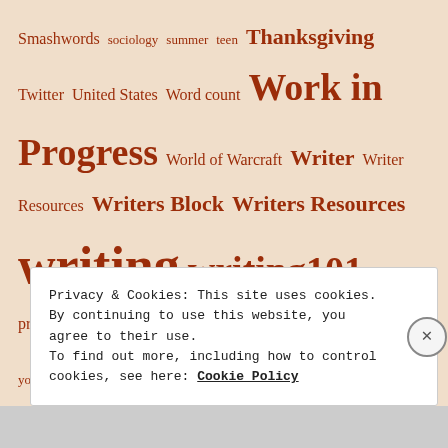Smashwords sociology summer teen Thanksgiving Twitter United States Word count Work in Progress World of Warcraft Writer Writer Resources Writers Block Writers Resources writing writing101 writing prompts young adult YouTube
Privacy & Cookies: This site uses cookies. By continuing to use this website, you agree to their use. To find out more, including how to control cookies, see here: Cookie Policy
Close and accept